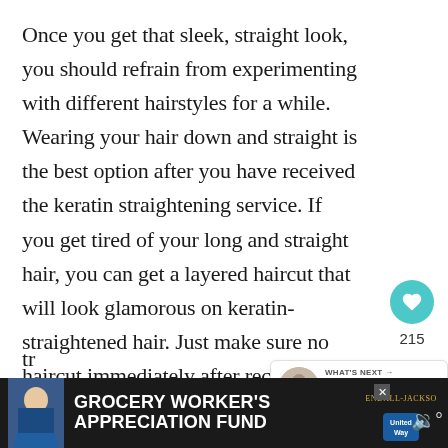Once you get that sleek, straight look, you should refrain from experimenting with different hairstyles for a while. Wearing your hair down and straight is the best option after you have received the keratin straightening service. If you get tired of your long and straight hair, you can get a layered haircut that will look glamorous on keratin-straightened hair. Just make sure no haircut immediately after receiving keratin tr
[Figure (infographic): Social sidebar with heart/like button showing 215 likes and a share button]
[Figure (infographic): WHAT'S NEXT panel with thumbnail: Which Styling Products to...]
[Figure (infographic): Bottom ad banner: Grocery Worker's Appreciation Fund with Kendall-Jackson and United Way logos]